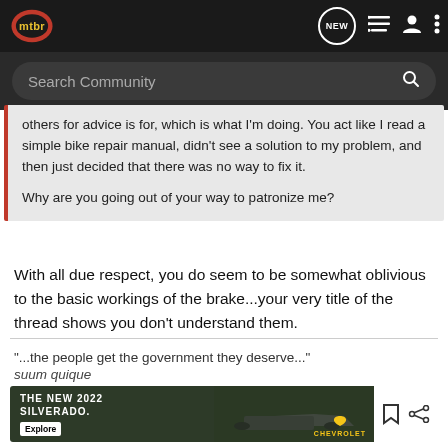mtbr — Search Community
others for advice is for, which is what I'm doing. You act like I read a simple bike repair manual, didn't see a solution to my problem, and then just decided that there was no way to fix it.

Why are you going out of your way to patronize me?
With all due respect, you do seem to be somewhat oblivious to the basic workings of the brake...your very title of the thread shows you don't understand them.
"...the people get the government they deserve..."
suum quique
[Figure (screenshot): Chevrolet Silverado 2022 advertisement banner showing pickup truck in field with text 'THE NEW 2022 SILVERADO.' and Explore button and Chevrolet logo]